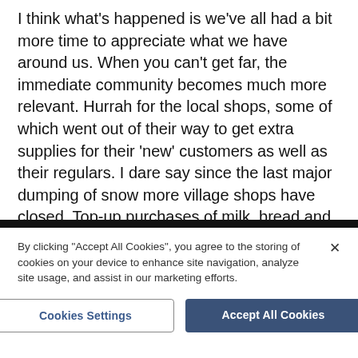I think what's happened is we've all had a bit more time to appreciate what we have around us. When you can't get far, the immediate community becomes much more relevant. Hurrah for the local shops, some of which went out of their way to get extra supplies for their 'new' customers as well as their regulars. I dare say since the last major dumping of snow more village shops have closed. Top-up purchases of milk, bread and a newspaper we all 'pop up the road' for after our big supermarket shop, just don't cut it. Never has 'use it or lose it' been more appropriate.
By clicking "Accept All Cookies", you agree to the storing of cookies on your device to enhance site navigation, analyze site usage, and assist in our marketing efforts.